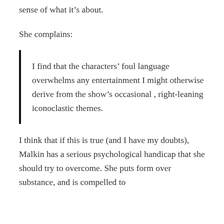sense of what it’s about.
She complains:
I find that the characters’ foul language overwhelms any entertainment I might otherwise derive from the show’s occasional , right-leaning iconoclastic themes.
I think that if this is true (and I have my doubts), Malkin has a serious psychological handicap that she should try to overcome. She puts form over substance, and is compelled to